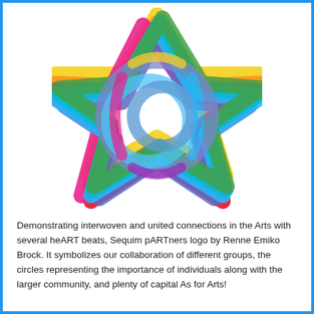[Figure (logo): Sequim pARTners logo by Renne Emiko Brock — a colorful interwoven knot design made of multiple looping ribbon-like strands (rainbow colors: yellow, orange, red, magenta/pink, purple, blue, teal, green) forming a star-like pattern with overlapping circles in the center.]
Demonstrating interwoven and united connections in the Arts with several heART beats, Sequim pARTners logo by Renne Emiko Brock. It symbolizes our collaboration of different groups, the circles representing the importance of individuals along with the larger community, and plenty of capital As for Arts!